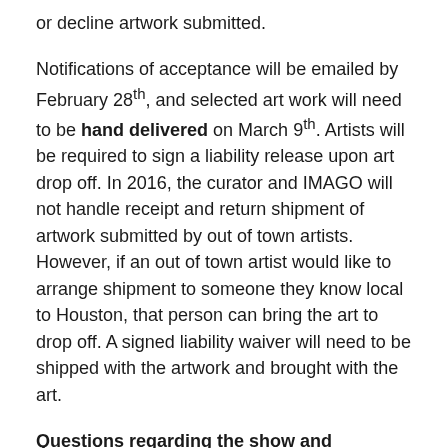or decline artwork submitted.
Notifications of acceptance will be emailed by February 28th, and selected art work will need to be hand delivered on March 9th. Artists will be required to sign a liability release upon art drop off. In 2016, the curator and IMAGO will not handle receipt and return shipment of artwork submitted by out of town artists. However, if an out of town artist would like to arrange shipment to someone they know local to Houston, that person can bring the art to drop off. A signed liability waiver will need to be shipped with the artwork and brought with the art.
Questions regarding the show and submission process can be emailed to curator@imagohouston.org.
IMPORTANT DATES FOR ARTISTS